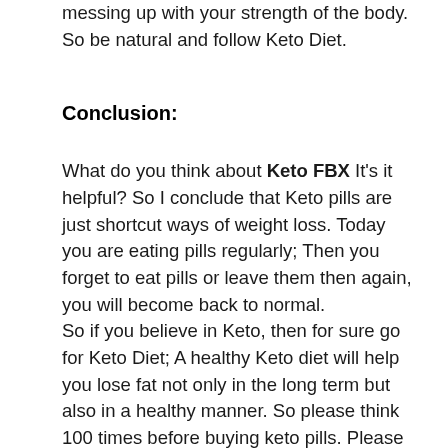messing up with your strength of the body. So be natural and follow Keto Diet.
Conclusion:
What do you think about Keto FBX It’s it helpful? So I conclude that Keto pills are just shortcut ways of weight loss. Today you are eating pills regularly; Then you forget to eat pills or leave them then again, you will become back to normal.
So if you believe in Keto, then for sure go for Keto Diet; A healthy Keto diet will help you lose fat not only in the long term but also in a healthy manner. So please think 100 times before buying keto pills. Please don’t get into